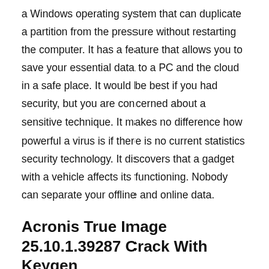a Windows operating system that can duplicate a partition from the pressure without restarting the computer. It has a feature that allows you to save your essential data to a PC and the cloud in a safe place. It would be best if you had security, but you are concerned about a sensitive technique. It makes no difference how powerful a virus is if there is no current statistics security technology. It discovers that a gadget with a vehicle affects its functioning. Nobody can separate your offline and online data.
Acronis True Image 25.10.1.39287 Crack With Keygen
Acronis True Image License Key can gather all the data